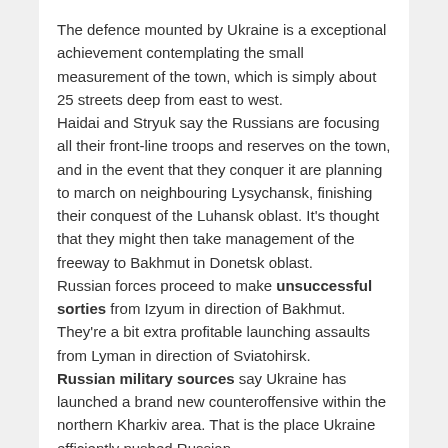The defence mounted by Ukraine is a exceptional achievement contemplating the small measurement of the town, which is simply about 25 streets deep from east to west.
Haidai and Stryuk say the Russians are focusing all their front-line troops and reserves on the town, and in the event that they conquer it are planning to march on neighbouring Lysychansk, finishing their conquest of the Luhansk oblast. It's thought that they might then take management of the freeway to Bakhmut in Donetsk oblast.
Russian forces proceed to make unsuccessful sorties from Izyum in direction of Bakhmut. They're a bit extra profitable launching assaults from Lyman in direction of Sviatohirsk.
Russian military sources say Ukraine has launched a brand new counteroffensive within the northern Kharkiv area. That is the place Ukraine efficiently pushed Russian